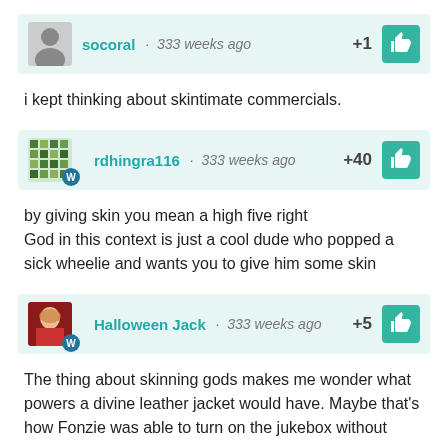socoral · 333 weeks ago +1
i kept thinking about skintimate commercials.
rdhingra116 · 333 weeks ago +40
by giving skin you mean a high five right
God in this context is just a cool dude who popped a sick wheelie and wants you to give him some skin
Halloween Jack · 333 weeks ago +5
The thing about skinning gods makes me wonder what powers a divine leather jacket would have. Maybe that's how Fonzie was able to turn on the jukebox without